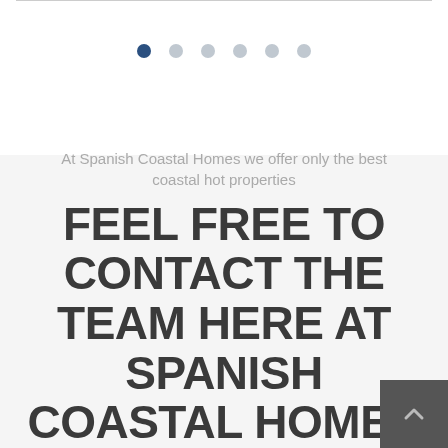[Figure (other): Pagination dots: one active dark blue dot followed by five light grey dots]
At Spanish Coastal Homes we offer only the best coastal hot properties
FEEL FREE TO CONTACT THE TEAM HERE AT SPANISH COASTAL HOMES